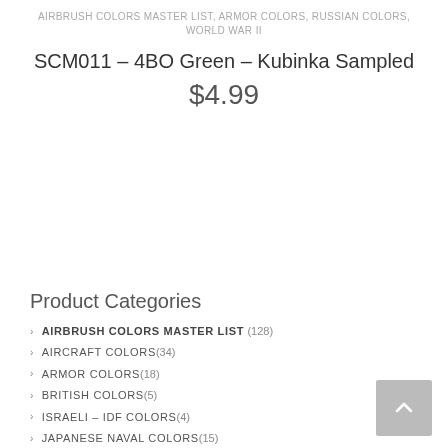AIRBRUSH COLORS MASTER LIST, ARMOR COLORS, RUSSIAN COLORS, WORLD WAR II
SCM011 – 4BO Green – Kubinka Sampled
$4.99
Product Categories
AIRBRUSH COLORS MASTER LIST (128)
AIRCRAFT COLORS (34)
ARMOR COLORS (18)
BRITISH COLORS (5)
ISRAELI – IDF COLORS (4)
JAPANESE NAVAL COLORS (15)
KRIEGSMARINE COLORS (11)
LUFTWAFFE COLORS (6)